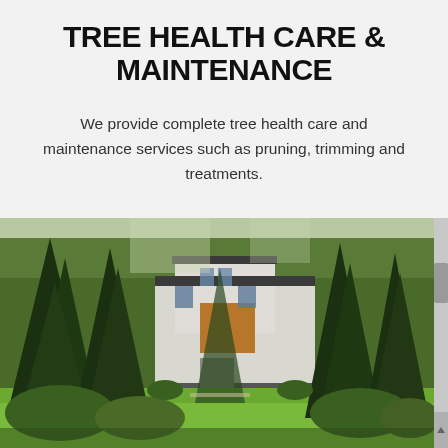TREE HEALTH CARE & MAINTENANCE
We provide complete tree health care and maintenance services such as pruning, trimming and treatments.
[Figure (photo): Photograph of a modern house surrounded by tall evergreen trees and lush green landscaping, with a lawn in the foreground.]